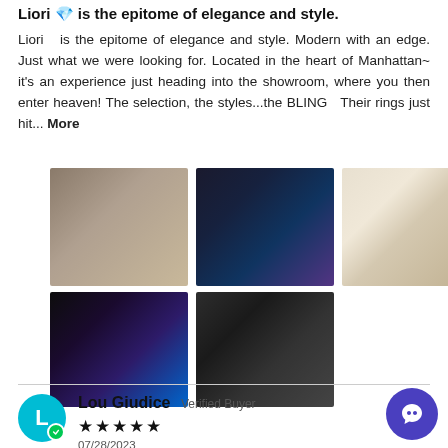Liori 💎 is the epitome of elegance and style.
Liori 💎 is the epitome of elegance and style. Modern with an edge. Just what we were looking for. Located in the heart of Manhattan~ it's an experience just heading into the showroom, where you then enter heaven! The selection, the styles...the BLING 💎 Their rings just hit... More
[Figure (photo): Five customer photos: couple in store, screen display, hand with ring on flowers, ring in blue box, couple selfie showing ring]
Lou Giudice  Verified Buyer
[Figure (other): Five star rating]
07/28/2023